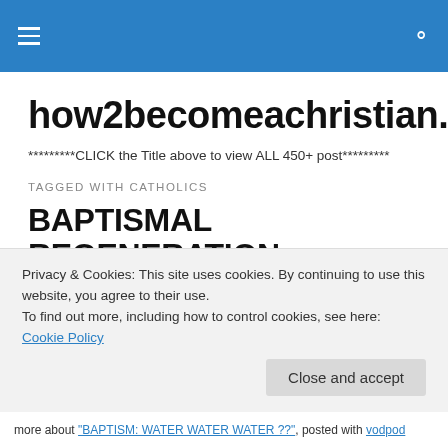Navigation bar with hamburger menu and search icon
how2becomeachristian.wordpress.com
*********CLICK the Title above to view ALL 450+ post*********
TAGGED WITH CATHOLICS
BAPTISMAL REGENERATION:
Privacy & Cookies: This site uses cookies. By continuing to use this website, you agree to their use.
To find out more, including how to control cookies, see here: Cookie Policy
more about "BAPTISM: WATER WATER WATER ??", posted with vodpod